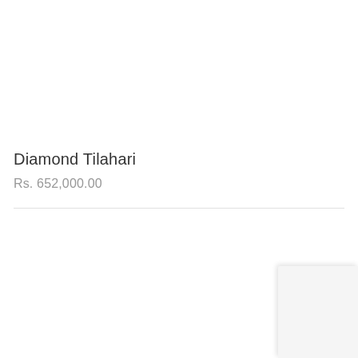Diamond Tilahari
Rs. 652,000.00